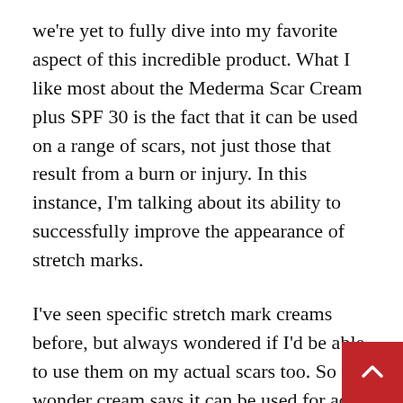we're yet to fully dive into my favorite aspect of this incredible product. What I like most about the Mederma Scar Cream plus SPF 30 is the fact that it can be used on a range of scars, not just those that result from a burn or injury. In this instance, I'm talking about its ability to successfully improve the appearance of stretch marks.
I've seen specific stretch mark creams before, but always wondered if I'd be able to use them on my actual scars too. So this wonder cream says it can be used for acne treatment, acne pits, burns, cuts, surgery scars and marks from injuries. On top of its general use for scars and stretch marks, the ability of this gel to heal burns is a plus for me as we all know how I am a little careless with my curling iron,